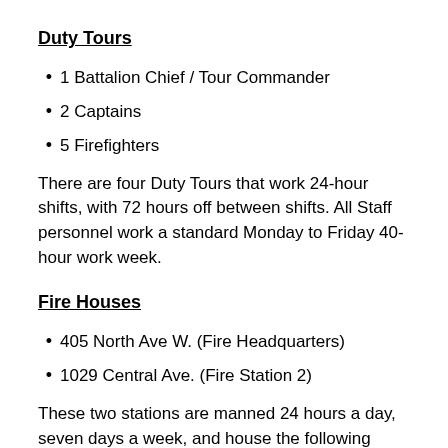Duty Tours
1 Battalion Chief / Tour Commander
2 Captains
5 Firefighters
There are four Duty Tours that work 24-hour shifts, with 72 hours off between shifts. All Staff personnel work a standard Monday to Friday 40-hour work week.
Fire Houses
405 North Ave W. (Fire Headquarters)
1029 Central Ave. (Fire Station 2)
These two stations are manned 24 hours a day, seven days a week, and house the following apparatus:
Fire Headquarters – 2 fire engines, 1 Ladder truck, and 2 support vehicles